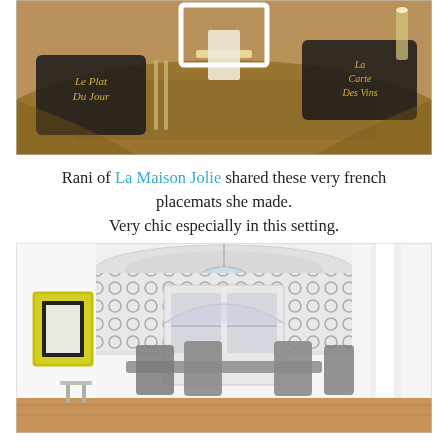[Figure (photo): Sepia-toned overhead photo of a dining table set with French-style placemats with script text reading 'Le Plat Du Jour' and 'La Carte Des Vins', silverware, candles, and woven chargers.]
Rani of La Maison Jolie shared these very french placemats she made. Very chic especially in this setting.
[Figure (photo): Interior photo of a dining room with gray dining table and chairs, white hutch/cabinet, patterned wallpaper accent wall, chandelier, hardwood floors, and framed artwork on the left.]
Theresa of Momma T's Place redid a hutch which completes her dining room. This room is so fresh and vintage - very Mod Vintage!